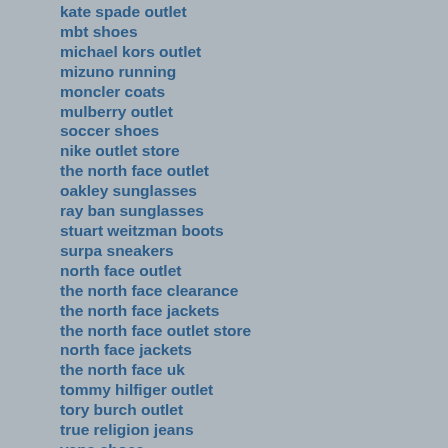kate spade outlet
mbt shoes
michael kors outlet
mizuno running
moncler coats
mulberry outlet
soccer shoes
nike outlet store
the north face outlet
oakley sunglasses
ray ban sunglasses
stuart weitzman boots
surpa sneakers
north face outlet
the north face clearance
the north face jackets
the north face outlet store
north face jackets
the north face uk
tommy hilfiger outlet
tory burch outlet
true religion jeans
vans shoes